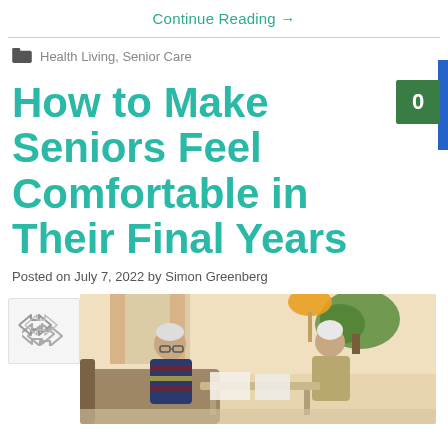Continue Reading →
Health Living, Senior Care
How to Make Seniors Feel Comfortable in Their Final Years
Posted on July 7, 2022 by Simon Greenberg
[Figure (photo): Two elderly people sitting together at a table looking at documents, with plants and a lamp in the background]